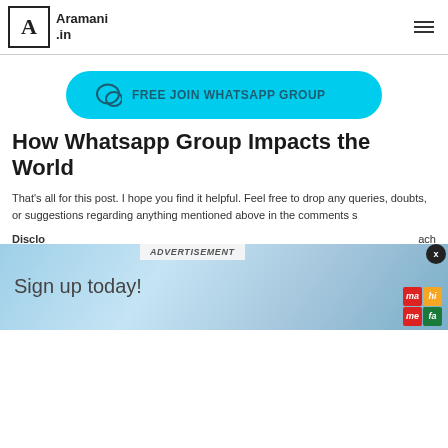Aramani .in
[Figure (other): Cyan rounded button with chat bubble icon and text: FREE JOIN WHATSAPP GROUP]
How Whatsapp Group Impacts the World
That's all for this post. I hope you find it helpful. Feel free to drop any queries, doubts, or suggestions regarding anything mentioned above in the comments s
Disclosure: ... each saying ... s safe and se...
[Figure (other): Advertisement banner showing 'Sign up today!' with geometric blue background and colorful logo grid in bottom right. Overlay shows ADVERTISEMENT label and X close button.]